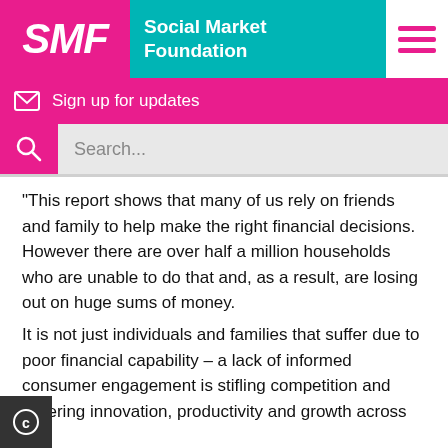[Figure (logo): Social Market Foundation logo with pink SMF block and teal 'Social Market Foundation' text, plus hamburger menu icon]
Sign up for updates
Search...
“This report shows that many of us rely on friends and family to help make the right financial decisions. However there are over half a million households who are unable to do that and, as a result, are losing out on huge sums of money.
It is not just individuals and families that suffer due to poor financial capability – a lack of informed consumer engagement is stifling competition and lowering innovation, productivity and growth across